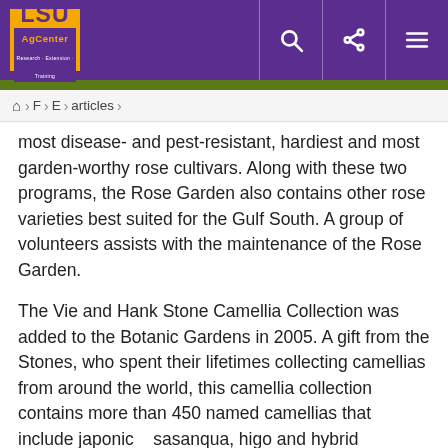LSU AgCenter — Navigation bar with search, share, and menu icons
⌂ › F › E › articles ›
most disease- and pest-resistant, hardiest and most garden-worthy rose cultivars. Along with these two programs, the Rose Garden also contains other rose varieties best suited for the Gulf South. A group of volunteers assists with the maintenance of the Rose Garden.
The Vie and Hank Stone Camellia Collection was added to the Botanic Gardens in 2005. A gift from the Stones, who spent their lifetimes collecting camellias from around the world, this camellia collection contains more than 450 named camellias that include japonica, sasanqua, higo and hybrid camellias. This camellia collection serves as a germplasm repository for